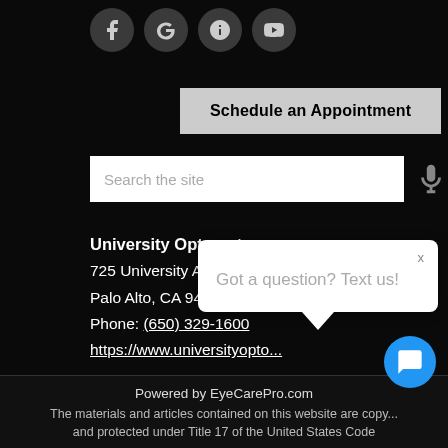[Figure (illustration): Four social media icon circles: Facebook, Google, Yelp, YouTube in dark gray circles]
Schedule an Appointment
Search the site
University Optometry
725 University Avenue, Suite A
Palo Alto, CA 94301-2148
Phone: (650) 329-1600
https://www.universityopto...
Got a question? Text us!
Powered by EyeCarePro.com
The materials and articles contained on this website are copy...
and protected under Title 17 of the United States Code